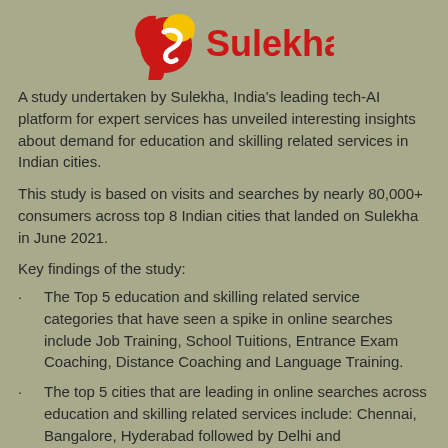[Figure (logo): Sulekha logo — red and yellow swirl icon with 'Sulekha' in red text]
A study undertaken by Sulekha, India's leading tech-AI platform for expert services has unveiled interesting insights about demand for education and skilling related services in Indian cities.
This study is based on visits and searches by nearly 80,000+ consumers across top 8 Indian cities that landed on Sulekha in June 2021.
Key findings of the study:
The Top 5 education and skilling related service categories that have seen a spike in online searches include Job Training, School Tuitions, Entrance Exam Coaching, Distance Coaching and Language Training.
The top 5 cities that are leading in online searches across education and skilling related services include: Chennai, Bangalore, Hyderabad followed by Delhi and